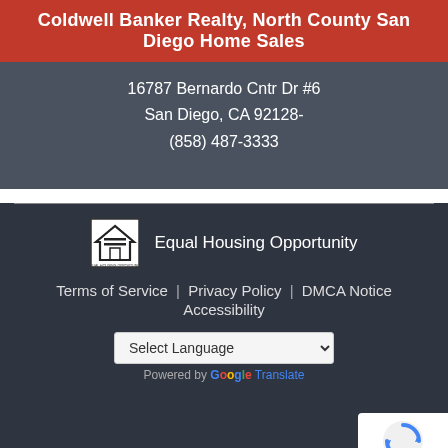Coldwell Banker Realty, North County San Diego Home Sales
16787 Bernardo Cntr Dr #6
San Diego, CA 92128-
(858) 487-3333
[Figure (logo): Equal Housing Opportunity logo - house with equal sign]
Equal Housing Opportunity
Terms of Service | Privacy Policy | DMCA Notice
Accessibility
[Figure (other): Select Language dropdown with Google Translate powered by label]
Provided by Brad Mattonen - CA DRE #0206266